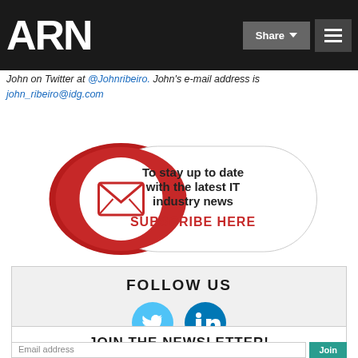ARN — Share — Menu
John Ribeiro covers outsourcing and general technology breaking news from India for The IDG News Service. Follow John on Twitter at @Johnribeiro. John's e-mail address is john_ribeiro@idg.com
[Figure (infographic): Subscribe banner with email icon: 'To stay up to date with the latest IT industry news SUBSCRIBE HERE']
[Figure (infographic): FOLLOW US section with Twitter and LinkedIn icons]
JOIN THE NEWSLETTER!
Email address | Join